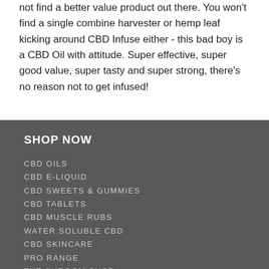not find a better value product out there. You won't find a single combine harvester or hemp leaf kicking around CBD Infuse either - this bad boy is a CBD Oil with attitude. Super effective, super good value, super tasty and super strong, there's no reason not to get infused!
SHOP NOW
CBD OILS
CBD E-LIQUID
CBD SWEETS & GUMMIES
CBD TABLETS
CBD MUSCLE RUBS
WATER SOLUBLE CBD
CBD SKINCARE
PRO RANGE
THE SHROOM SHOP